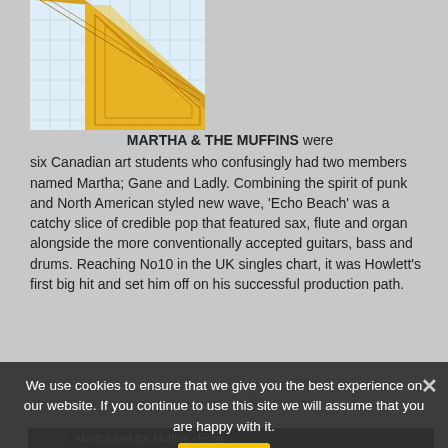[Figure (illustration): Yellow/gold geometric drafting triangle shape on a light blue grid background]
MARTHA & THE MUFFINS were six Canadian art students who confusingly had two members named Martha; Gane and Ladly. Combining the spirit of punk and North American styled new wave, 'Echo Beach' was a catchy slice of credible pop that featured sax, flute and organ alongside the more conventionally accepted guitars, bass and drums. Reaching No10 in the UK singles chart, it was Howlett's first big hit and set him off on his successful production path.
Available on the album 'Metro Music'. Via Virgin Records
We use cookies to ensure that we give you the best experience on our website. If you continue to use this site we will assume that you are happy with it.
[Figure (screenshot): Video thumbnail showing Martha and the Muffins - Echo Beach YouTube video]